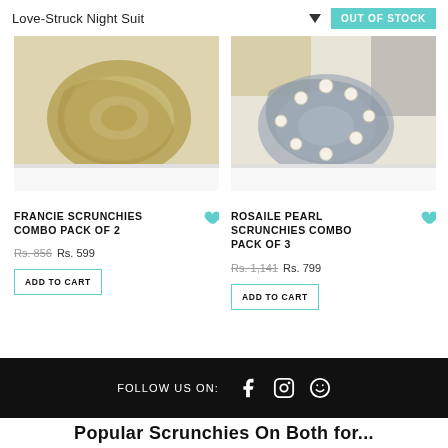Love-Struck Night Suit
OUT OF STOCK
[Figure (photo): Photo of gold/olive velvet scrunchie in a white box]
[Figure (photo): Photo of grey tulle scrunchies with pearl beads alongside black and gold accessories in a white box]
FRANCIE SCRUNCHIES COMBO PACK OF 2
Rs. 856  Rs. 599
ADD TO CART
ROSAILE PEARL SCRUNCHIES COMBO PACK OF 3
Rs. 1,141  Rs. 799
ADD TO CART
FOLLOW US ON:
Popular Scrunchies On Both for...